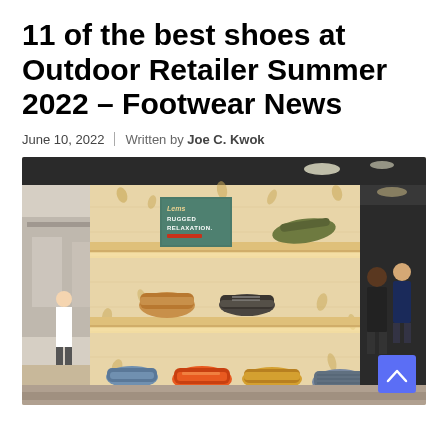11 of the best shoes at Outdoor Retailer Summer 2022 – Footwear News
June 10, 2022 | Written by Joe C. Kwok
[Figure (photo): Photo of an indoor shoe display booth at Outdoor Retailer Summer 2022. A wooden shelving unit with decorative cutouts displays various hiking and casual shoes. A sign reads 'Rugged Relaxation.' with the Lems logo. People are visible in the background in a large convention hall. A blue scroll-to-top button is visible in the lower right corner.]